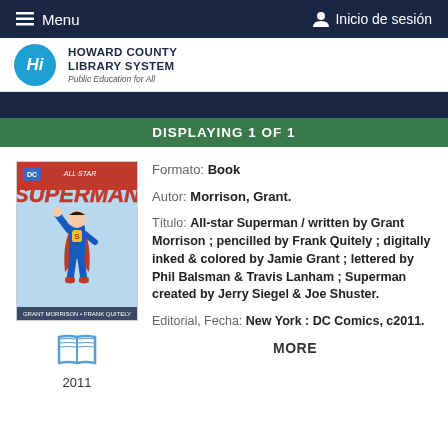Menu | Inicio de sesión
[Figure (logo): Howard County Library System logo with 'Hi' circle and tagline 'Public Education for All']
DISPLAYING 1 OF 1
[Figure (illustration): All-star Superman book cover with Superman flying]
[Figure (illustration): Open book icon in blue]
2011
Formato: Book
Autor: Morrison, Grant.
Título: All-star Superman / written by Grant Morrison ; pencilled by Frank Quitely ; digitally inked & colored by Jamie Grant ; lettered by Phil Balsman & Travis Lanham ; Superman created by Jerry Siegel & Joe Shuster.
Editorial, Fecha: New York : DC Comics, c2011.
MORE